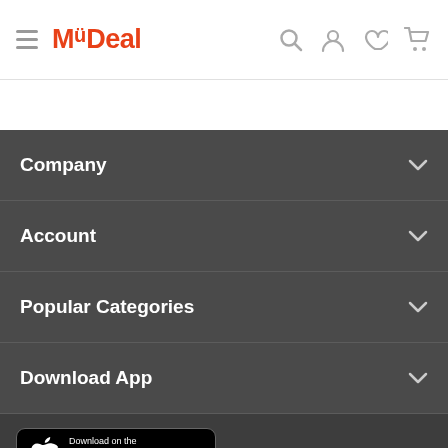MyDeal
Company
Account
Popular Categories
Download App
[Figure (screenshot): App Store download button with Apple logo]
[Figure (screenshot): Google Play download button (partially visible, cut off)]